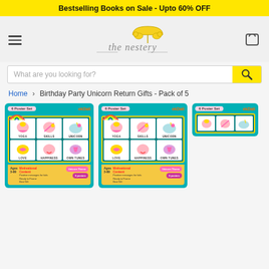Bestselling Books on Sale - Upto 60% OFF
[Figure (logo): The Nestery logo with two birds under umbrella and cursive text 'the nestery']
What are you looking for?
Home > Birthday Party Unicorn Return Gifts - Pack of 5
[Figure (photo): Product image 1: 6 Poster Set with unicorn theme by ekDali. Teal background with rainbow, 6 unicorn poster cells (YOGA, SKILLS, UNICORN, LOVE, HAPPINESS, OWN TUNES), yellow footer with ages 3-99, Motivational Content, Unicorn Theme, 6 posters.]
[Figure (photo): Product image 2: Same 6 Poster Set with unicorn theme by ekDali, duplicate view.]
[Figure (photo): Product image 3: Partial view of the same 6 Poster Set unicorn product.]